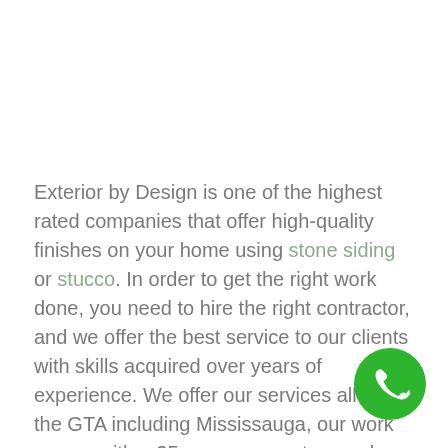Exterior by Design is one of the highest rated companies that offer high-quality finishes on your home using stone siding or stucco. In order to get the right work done, you need to hire the right contractor, and we offer the best service to our clients with skills acquired over years of experience. We offer our services all over the GTA including Mississauga, our work comes with a 25-years guarantee, and we have five million dollar liability insurance coverage.
[Figure (illustration): Green circular phone call button with white telephone handset icon, positioned at bottom right corner]